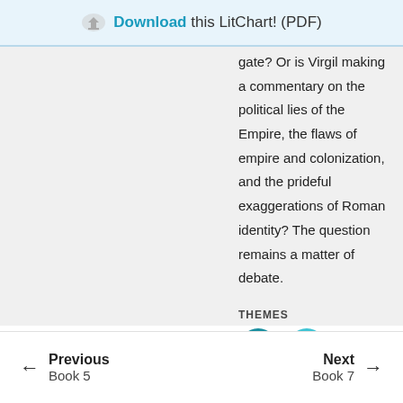Download this LitChart! (PDF)
gate? Or is Virgil making a commentary on the political lies of the Empire, the flaws of empire and colonization, and the prideful exaggerations of Roman identity? The question remains a matter of debate.
THEMES
[Figure (illustration): Two circular teal theme icons with white symbols inside]
Previous Book 5 | Next Book 7